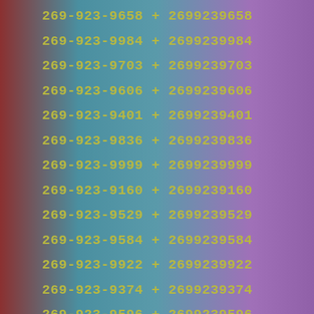269-923-9658 + 2699239658
269-923-9984 + 2699239984
269-923-9703 + 2699239703
269-923-9606 + 2699239606
269-923-9401 + 2699239401
269-923-9836 + 2699239836
269-923-9999 + 2699239999
269-923-9160 + 2699239160
269-923-9529 + 2699239529
269-923-9584 + 2699239584
269-923-9922 + 2699239922
269-923-9374 + 2699239374
269-923-9596 + 2699239596
269-923-9316 + 2699239316
269-923-9425 + 2699239425
269-923-9563 + 2699239563
269-923-9640 + 2699239640
269-923-9815 + 2699239815
269-923-9705 + 2699239705
269-923-9966 + 2699239966
269-923-9130 + 2699239130
269-923-9274 + 2699239274
269-923-9450 + 2699239450